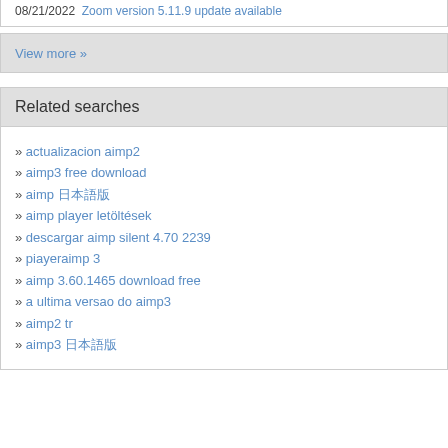08/21/2022  Zoom version 5.11.9 update available
View more »
Related searches
actualizacion aimp2
aimp3 free download
aimp 日本語版
aimp player letöltések
descargar aimp silent 4.70 2239
piayeraimp 3
aimp 3.60.1465 download free
a ultima versao do aimp3
aimp2 tr
aimp3 日本語版